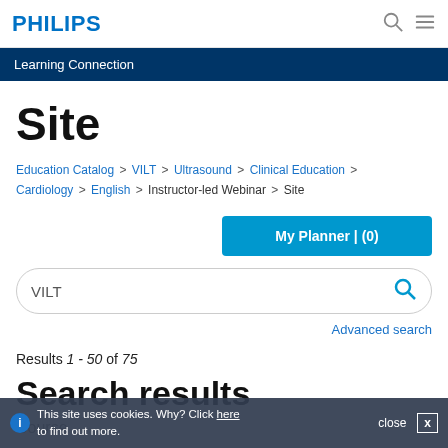PHILIPS
Learning Connection
Site
Education Catalog > VILT > Ultrasound > Clinical Education > Cardiology > English > Instructor-led Webinar > Site
My Planner | (0)
VILT
Advanced search
Results 1 - 50 of 75
Search results
Course
This site uses cookies. Why? Click here to find out more.